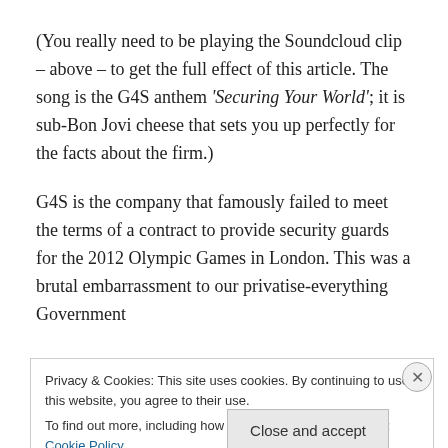(You really need to be playing the Soundcloud clip – above – to get the full effect of this article. The song is the G4S anthem 'Securing Your World'; it is sub-Bon Jovi cheese that sets you up perfectly for the facts about the firm.)
G4S is the company that famously failed to meet the terms of a contract to provide security guards for the 2012 Olympic Games in London. This was a brutal embarrassment to our privatise-everything Government
Privacy & Cookies: This site uses cookies. By continuing to use this website, you agree to their use.
To find out more, including how to control cookies, see here: Cookie Policy
Close and accept